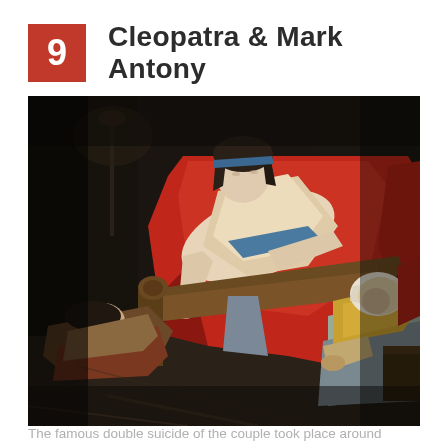9  Cleopatra & Mark Antony
[Figure (photo): Classical painting depicting the death of Cleopatra. A pale woman in a flowing white and red garment reclines on a chaise lounge, eyes closed, with a red drape falling around her. Two attendant figures are visible: one collapsed on the floor at left, one slumped at lower right wearing a yellow top and grey skirt. The scene is dark and dramatic.]
The famous double suicide of the couple took place around